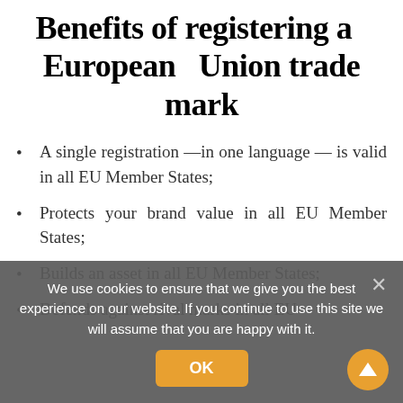Benefits of registering a European Union trade mark
A single registration —in one language — is valid in all EU Member States;
Protects your brand value in all EU Member States;
Builds an asset in all EU Member States;
Defends against rival marks in all EU
We use cookies to ensure that we give you the best experience on our website. If you continue to use this site we will assume that you are happy with it.